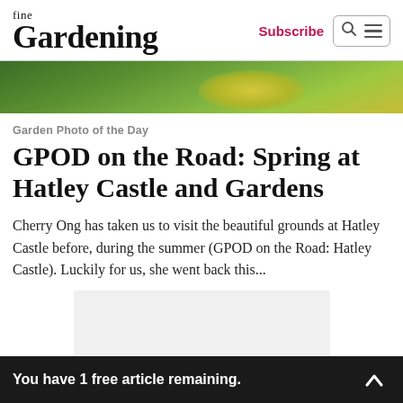fine Gardening | Subscribe
[Figure (photo): Close-up of green foliage with yellow flowers, likely a garden plant]
Garden Photo of the Day
GPOD on the Road: Spring at Hatley Castle and Gardens
Cherry Ong has taken us to visit the beautiful grounds at Hatley Castle before, during the summer (GPOD on the Road: Hatley Castle). Luckily for us, she went back this...
[Figure (other): Advertisement placeholder box (light gray)]
You have 1 free article remaining.